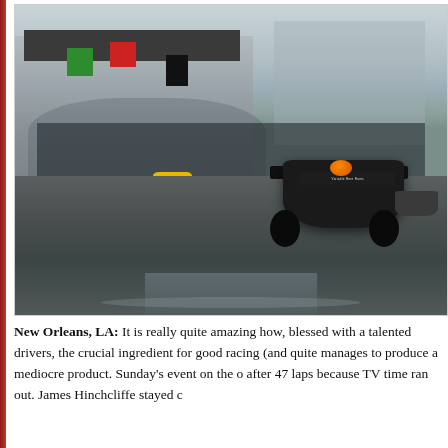[Figure (photo): Racing cars and pit crew in the rain at New Orleans, wet pit lane with people holding umbrellas, IndyCar visible in foreground with 'Variable Rere Rams' banner, yellow and red vehicles, orange helmet visible, overcast rainy conditions]
New Orleans, LA: It is really quite amazing how, blessed with a talented drivers, the crucial ingredient for good racing (and quite manages to produce a mediocre product. Sunday's event on the o after 47 laps because TV time ran out. James Hinchcliffe stayed c